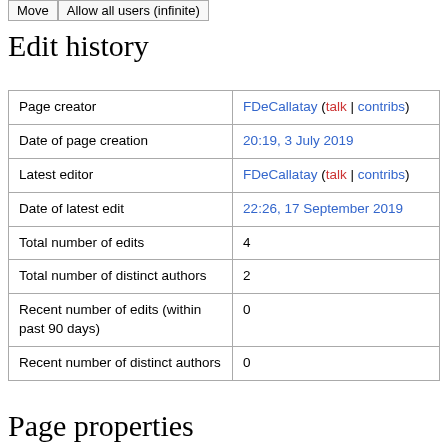Move | Allow all users (infinite)
Edit history
| Page creator | FDeCallatay (talk | contribs) |
| Date of page creation | 20:19, 3 July 2019 |
| Latest editor | FDeCallatay (talk | contribs) |
| Date of latest edit | 22:26, 17 September 2019 |
| Total number of edits | 4 |
| Total number of distinct authors | 2 |
| Recent number of edits (within past 90 days) | 0 |
| Recent number of distinct authors | 0 |
Page properties